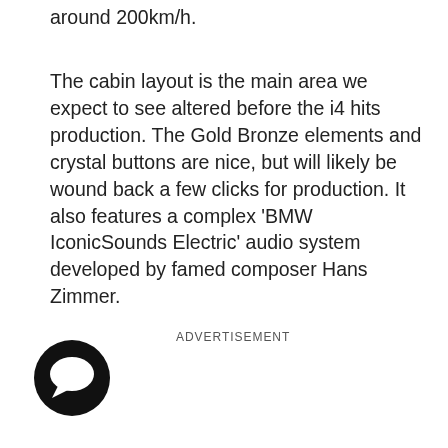around 200km/h.
The cabin layout is the main area we expect to see altered before the i4 hits production. The Gold Bronze elements and crystal buttons are nice, but will likely be wound back a few clicks for production. It also features a complex 'BMW IconicSounds Electric' audio system developed by famed composer Hans Zimmer.
ADVERTISEMENT
[Figure (illustration): Black circular speech bubble / comment icon]